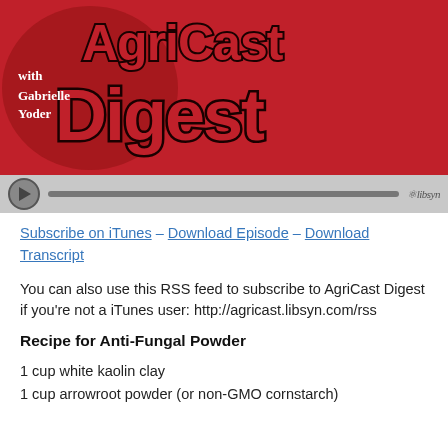[Figure (screenshot): AgriCast Digest podcast banner with red background, white and dark brown outlined text reading 'AgriCast Digest with Gabrielle Yoder', followed by an audio player bar with play button and progress bar with libsyn branding.]
Subscribe on iTunes – Download Episode – Download Transcript
You can also use this RSS feed to subscribe to AgriCast Digest if you're not a iTunes user: http://agricast.libsyn.com/rss
Recipe for Anti-Fungal Powder
1 cup white kaolin clay
1 cup arrowroot powder (or non-GMO cornstarch)